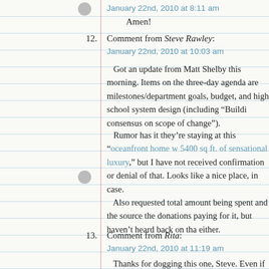January 22nd, 2010 at 8:11 am
Amen!
12. Comment from Steve Rawley: January 22nd, 2010 at 10:03 am
Got an update from Matt Shelby this morning. Items on the three-day agenda are milestones/department goals, budget, and high school system design (including "Building consensus on scope of change").
Rumor has it they’re staying at this “oceanfront home w 5400 sq ft. of sensational luxury,” but I have not received confirmation or denial of that. Looks like a nice place, in case.
Also requested total amount being spent and the source the donations paying for it, but haven’t heard back on that either.
13. Comment from Rita: January 22nd, 2010 at 11:19 am
Thanks for dogging this one, Steve. Even if it makes sense ( not a given), this is like the poster child for political tone-deafness.
14. Comment from Miss Merry Sunshine: January 22nd, 2010 at 11:35 am
Amen, Rita. Regardless of the source of funds, from th should be of Phil Mitchel, Bill Zero and a second.